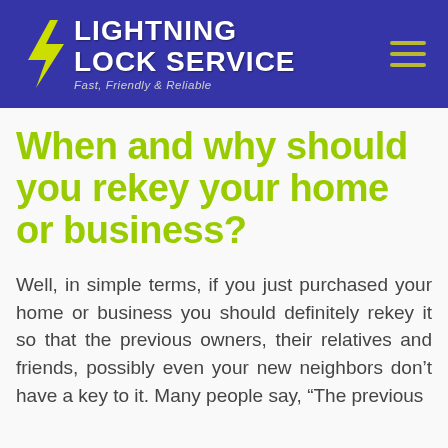[Figure (logo): Lightning Lock Service logo with yellow lightning bolt and text on blue background, tagline: Fast, Friendly & Reliable]
When and why should you rekey your home or business?
Well, in simple terms, if you just purchased your home or business you should definitely rekey it so that the previous owners, their relatives and friends, possibly even your new neighbors don't have a key to it. Many people say, "The previous